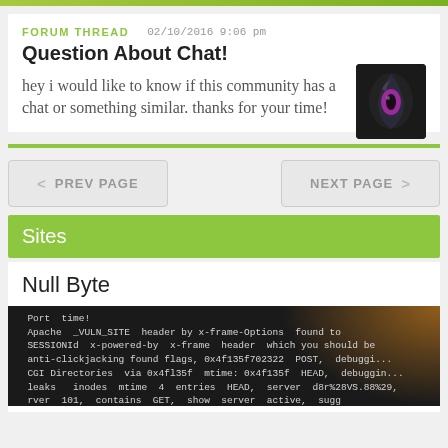FORUM THREAD   02/10/2016 9:06 pm
Question About Chat!
hey i would like to know if this community has a chat or something similar. thanks for your time!
PREV PAGE
NEXT PAGE
Sites
Null Byte
[Figure (screenshot): Dark terminal/code screenshot showing HTTP headers and server information lines in white monospace text on dark background with an orange glow in the upper right corner.]